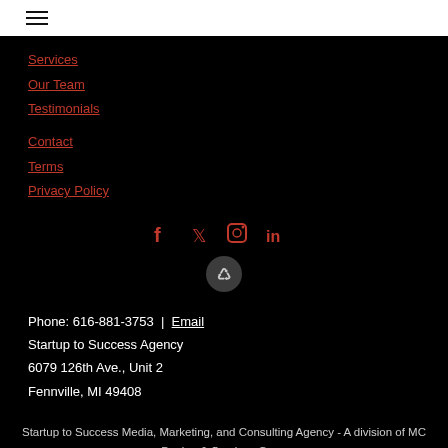☰ (hamburger menu icon)
Services
Our Team
Testimonials
Contact
Terms
Privacy Policy
[Figure (infographic): Social media icons row: Facebook, Twitter, Instagram, LinkedIn; below them a circular logo/icon]
Phone: 616-881-3753 | Email
Startup to Success Agency
6079 126th Ave., Unit 2
Fennville, MI 49408
Startup to Success Media, Marketing, and Consulting Agency - A division of MC Design & Services Corp.
Copyright © 2009 - 2022 Rebecca LeClaire. All Rights Reserved.